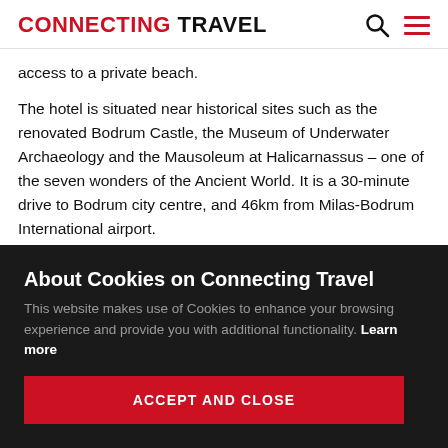CONNECTING TRAVEL
access to a private beach.
The hotel is situated near historical sites such as the renovated Bodrum Castle, the Museum of Underwater Archaeology and the Mausoleum at Halicarnassus – one of the seven wonders of the Ancient World. It is a 30-minute drive to Bodrum city centre, and 46km from Milas-Bodrum International airport.
About Cookies on Connecting Travel
This website makes use of Cookies to enhance your browsing experience and provide you with additional functionality. Learn more
ACCEPT AND CLOSE